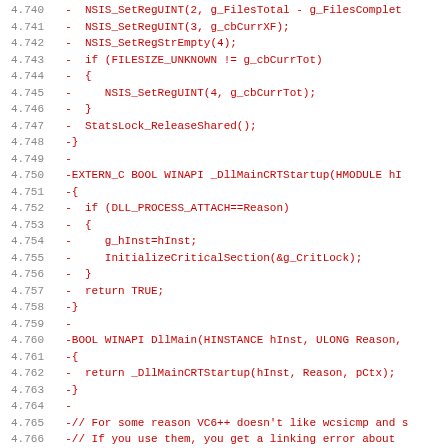[Figure (screenshot): Code diff showing removed lines (prefixed with -) in red monospace font, line numbers 4.740 to 4.771, containing C/C++ source code for DLL functions including NSIS_SetRegUINT, NSIS_SetRegStrEmpty, StatsLock_ReleaseShared, _DllMainCRTStartup, DllMain, and main functions.]